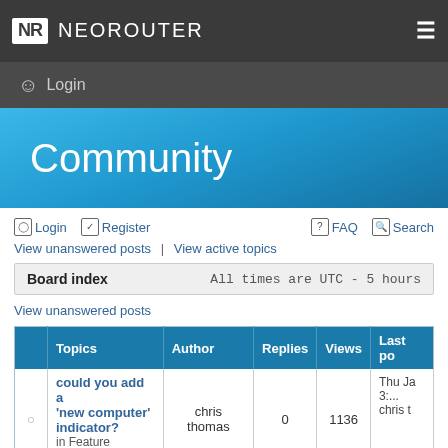NR NEOROUTER
Login
Community
Login   Register   FAQ   Search
View unanswered posts | View active topics
|  | Board index | All times are UTC - 5 hours |
| --- | --- | --- |
View unanswered posts
|  | Topics | Author | Replies | Views | Last po... |
| --- | --- | --- | --- | --- | --- |
| ○ | could you add a 'new computer' indicator?
in Feature Requests | chris thomas | 0 | 1136 | Thu Ja...
3:...
chris t... |